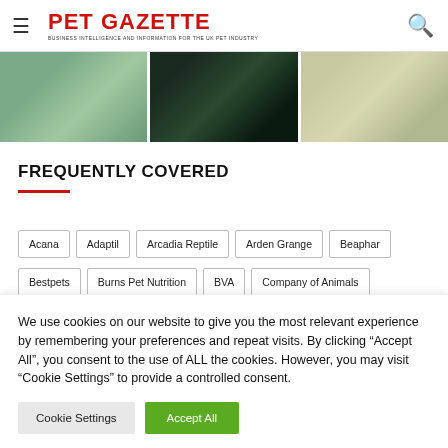PET GAZETTE
[Figure (photo): Three image panels: a pet store exterior, a dog wearing a harness, and food/ingredients laid out on a surface]
FREQUENTLY COVERED
Acana
Adaptil
Arcadia Reptile
Arden Grange
Beaphar
Bestpets
Burns Pet Nutrition
BVA
Company of Animals
We use cookies on our website to give you the most relevant experience by remembering your preferences and repeat visits. By clicking "Accept All", you consent to the use of ALL the cookies. However, you may visit "Cookie Settings" to provide a controlled consent.